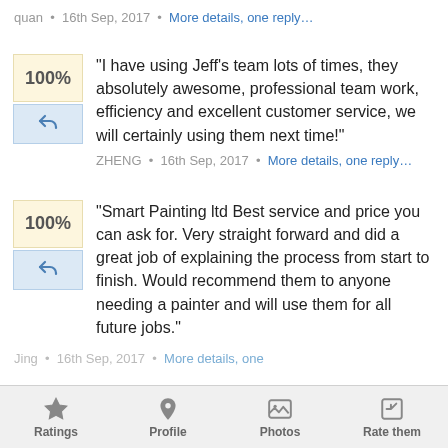quan • 16th Sep, 2017 • More details, one reply…
"I have using Jeff's team lots of times, they absolutely awesome, professional team work, efficiency and excellent customer service, we will certainly using them next time!"
ZHENG • 16th Sep, 2017 • More details, one reply…
"Smart Painting ltd Best service and price you can ask for. Very straight forward and did a great job of explaining the process from start to finish. Would recommend them to anyone needing a painter and will use them for all future jobs."
Jing • 16th Sep, 2017 • More details, one…
Ratings  Profile  Photos  Rate them